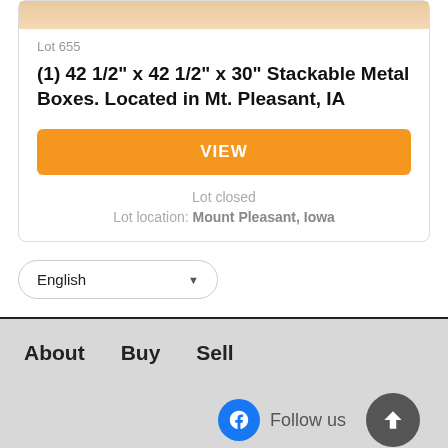Lot 655
(1) 42 1/2" x 42 1/2" x 30" Stackable Metal Boxes. Located in Mt. Pleasant, IA
VIEW
Lot closed
Lot location: Mount Pleasant, Iowa
English
About  Buy  Sell  Follow us